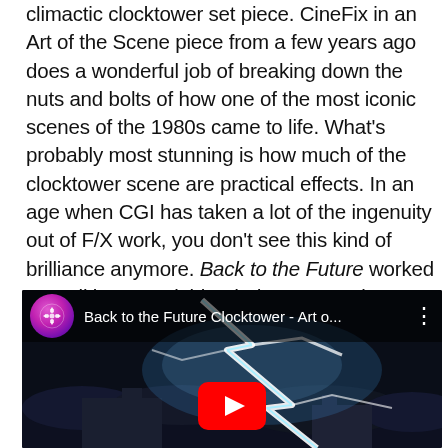climactic clocktower set piece.  CineFix in an Art of the Scene piece from a few years ago does a wonderful job of breaking down the nuts and bolts of how one of the most iconic scenes of the 1980s came to life.  What's probably most stunning is how much of the clocktower scene are practical effects.  In an age when CGI has taken a lot of the ingenuity out of F/X work, you don't see this kind of brilliance anymore.  Back to the Future worked so well because it blended a great script, a great director, Michael J. Fox in his breakout role, and old-fashioned movie wizardry to tell a time-traveling tale that has, over the decades, become timeless.
[Figure (screenshot): Embedded YouTube video thumbnail showing 'Back to the Future Clocktower - Art o...' with a dark stormy sky and lightning bolt, YouTube logo circle in top-left, three-dot menu top-right, and red play button centered at bottom.]